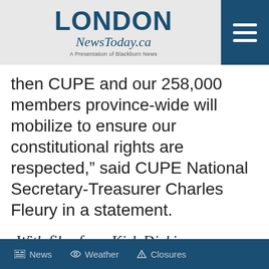LONDON NewsToday.ca — A Presentation of Blackburn News
then CUPE and our 258,000 members province-wide will mobilize to ensure our constitutional rights are respected,” said CUPE National Secretary-Treasurer Charles Fleury in a statement.
-With files from Kirk Dickinson
News   Weather   Closures